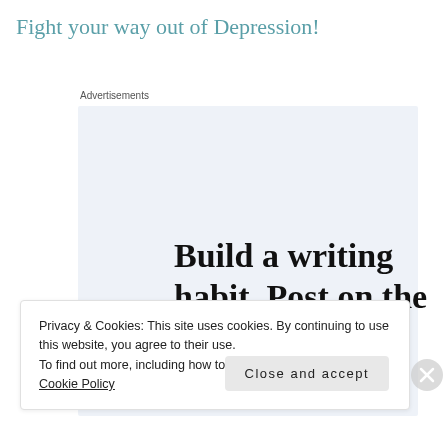Fight your way out of Depression!
Advertisements
[Figure (screenshot): WordPress app advertisement: 'Build a writing habit. Post on the go.' with a GET THE APP call-to-action and WordPress logo]
Privacy & Cookies: This site uses cookies. By continuing to use this website, you agree to their use.
To find out more, including how to control cookies, see here: Cookie Policy
Close and accept